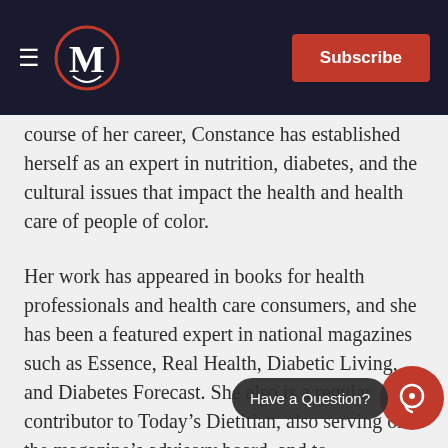M | Subscribe
course of her career, Constance has established herself as an expert in nutrition, diabetes, and the cultural issues that impact the health and health care of people of color.
Her work has appeared in books for health professionals and health care consumers, and she has been a featured expert in national magazines such as Essence, Real Health, Diabetic Living, and Diabetes Forecast. She also is a regular contributor to Today’s Dietitian, also serving on the magazine’s advisory board, and to BlackDoctor.org. Constance is the chair-elect for the Academy of Nutrition and Dietetics, Diabetes Care and Education Practice Group, former member of the board of directors for the American Association of Diabetes Educators, past president of